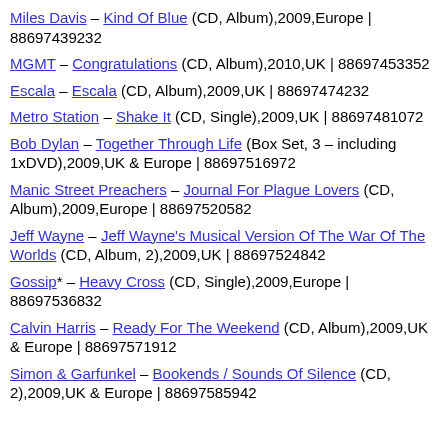Miles Davis – Kind Of Blue (CD, Album),2009,Europe | 88697439232
MGMT – Congratulations (CD, Album),2010,UK | 88697453352
Escala – Escala (CD, Album),2009,UK | 88697474232
Metro Station – Shake It (CD, Single),2009,UK | 88697481072
Bob Dylan – Together Through Life (Box Set, 3 – including 1xDVD),2009,UK & Europe | 88697516972
Manic Street Preachers – Journal For Plague Lovers (CD, Album),2009,Europe | 88697520582
Jeff Wayne – Jeff Wayne's Musical Version Of The War Of The Worlds (CD, Album, 2),2009,UK | 88697524842
Gossip* – Heavy Cross (CD, Single),2009,Europe | 88697536832
Calvin Harris – Ready For The Weekend (CD, Album),2009,UK & Europe | 88697571912
Simon & Garfunkel – Bookends / Sounds Of Silence (CD, 2),2009,UK & Europe | 88697585942